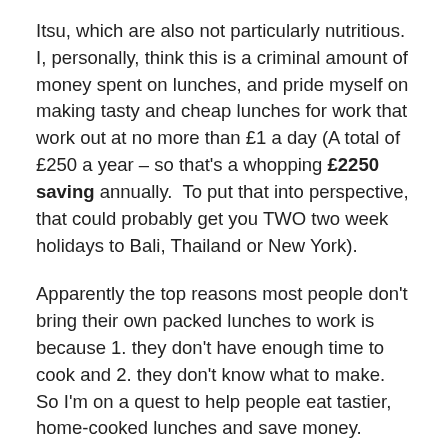Itsu, which are also not particularly nutritious. I, personally, think this is a criminal amount of money spent on lunches, and pride myself on making tasty and cheap lunches for work that work out at no more than £1 a day (A total of £250 a year – so that's a whopping £2250 saving annually.  To put that into perspective, that could probably get you TWO two week holidays to Bali, Thailand or New York).
Apparently the top reasons most people don't bring their own packed lunches to work is because 1. they don't have enough time to cook and 2. they don't know what to make. So I'm on a quest to help people eat tastier, home-cooked lunches and save money.
The idea behind this is batch cooking. Yes, eating the same meal 5 days in a row can get a bit boring, that's why